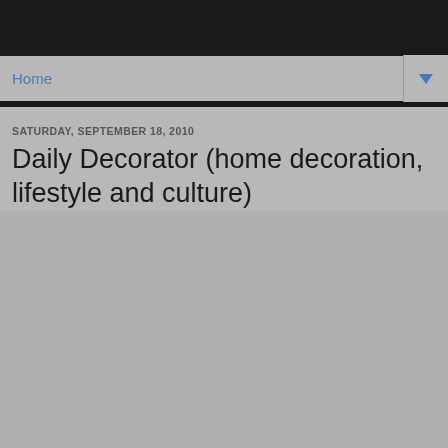Home
SATURDAY, SEPTEMBER 18, 2010
Daily Decorator (home decoration, lifestyle and culture)